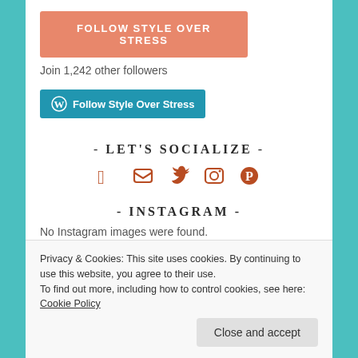[Figure (other): Orange/salmon colored button labeled FOLLOW STYLE OVER STRESS]
Join 1,242 other followers
[Figure (other): Blue WordPress follow button labeled Follow Style Over Stress with WordPress logo icon]
- LET'S SOCIALIZE -
[Figure (other): Social media icons: Facebook, Twitter, Instagram camera, Pinterest - all in burnt orange/rust color]
- INSTAGRAM -
No Instagram images were found.
Privacy & Cookies: This site uses cookies. By continuing to use this website, you agree to their use.
To find out more, including how to control cookies, see here: Cookie Policy
Close and accept